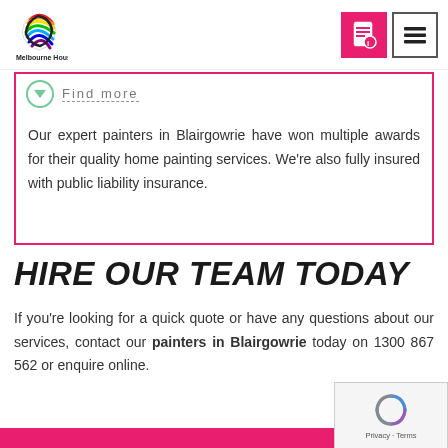Melbourne House Painters
Find More
Our expert painters in Blairgowrie have won multiple awards for their quality home painting services. We're also fully insured with public liability insurance.
HIRE OUR TEAM TODAY
If you're looking for a quick quote or have any questions about our services, contact our painters in Blairgowrie today on 1300 867 562 or enquire online.